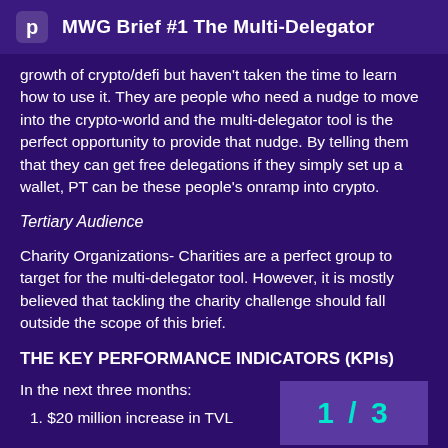MWG Brief #1 The Multi-Delegator
growth of crypto/defi but haven't taken the time to learn how to use it. They are people who need a nudge to move into the crypto-world and the multi-delegator tool is the perfect opportunity to provide that nudge. By telling them that they can get free delegations if they simply set up a wallet, PT can be these people's onramp into crypto.
Tertiary Audience
Charity Organizations- Charities are a perfect group to target for the multi-delegator tool. However, it is mostly believed that tackling the charity challenge should fall outside the scope of this brief.
THE KEY PERFORMANCE INDICATORS (KPIs)
In the next three months:
1.  $20 million increase in TVL